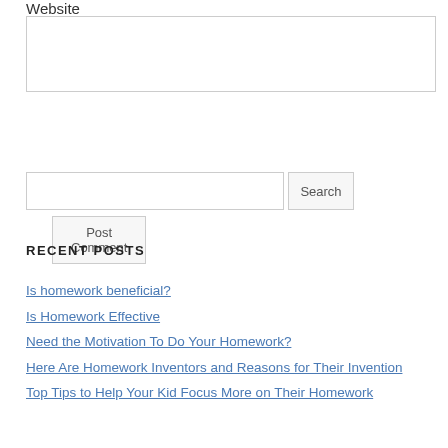Website
Post Comment
Search
RECENT POSTS
Is homework beneficial?
Is Homework Effective
Need the Motivation To Do Your Homework?
Here Are Homework Inventors and Reasons for Their Invention
Top Tips to Help Your Kid Focus More on Their Homework